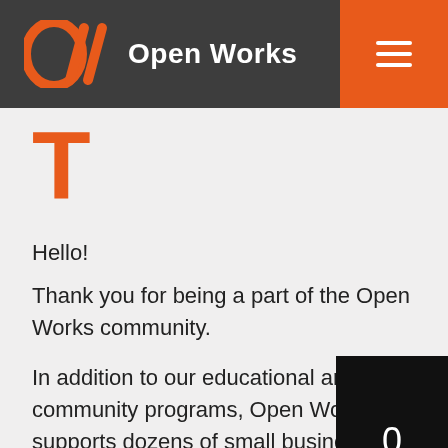Open Works
T
Hello!
Thank you for being a part of the Open Works community.
In addition to our educational and community programs, Open Works supports dozens of small businesses and entrepreneurs who depend on our